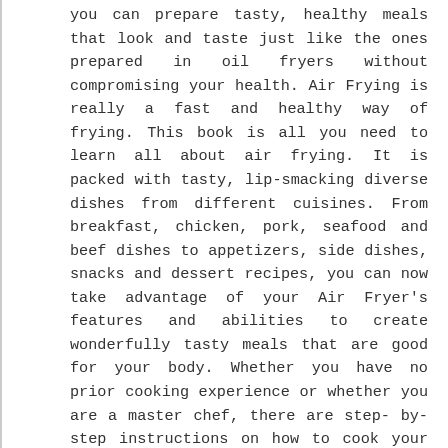you can prepare tasty, healthy meals that look and taste just like the ones prepared in oil fryers without compromising your health. Air Frying is really a fast and healthy way of frying. This book is all you need to learn all about air frying. It is packed with tasty, lip-smacking diverse dishes from different cuisines. From breakfast, chicken, pork, seafood and beef dishes to appetizers, side dishes, snacks and dessert recipes, you can now take advantage of your Air Fryer's features and abilities to create wonderfully tasty meals that are good for your body. Whether you have no prior cooking experience or whether you are a master chef, there are step- by- step instructions on how to cook your favorite recipes. An air fryer can cater to your every need and with this book in your hand, you can start your journey to healthy meals preparation. Here is a snippet of what's